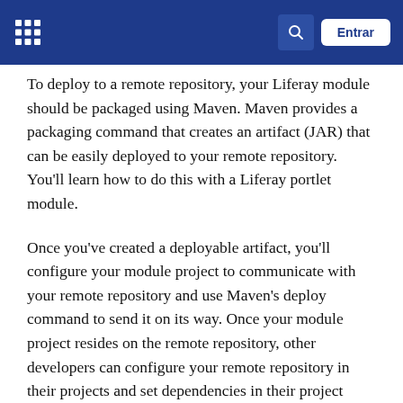Liferay documentation site header with grid icon, search button, and Entrar button
To deploy to a remote repository, your Liferay module should be packaged using Maven. Maven provides a packaging command that creates an artifact (JAR) that can be easily deployed to your remote repository. You'll learn how to do this with a Liferay portlet module.
Once you've created a deployable artifact, you'll configure your module project to communicate with your remote repository and use Maven's deploy command to send it on its way. Once your module project resides on the remote repository, other developers can configure your remote repository in their projects and set dependencies in their project POMs to reference it.
To follow this tutorial, you'll need a Liferay module built with Maven. For demonstration purposes, this tutorial uses